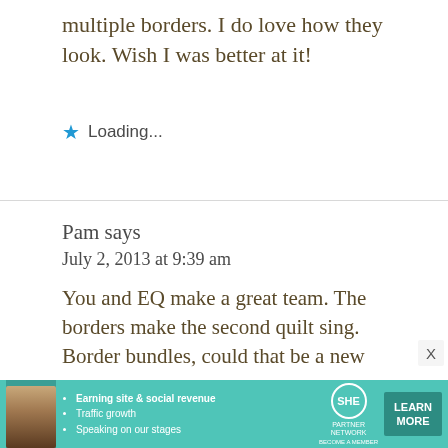multiple borders. I do love how they look. Wish I was better at it!
Loading...
Pam says
July 2, 2013 at 9:39 am
You and EQ make a great team. The borders make the second quilt sing.
Border bundles, could that be a new
[Figure (infographic): SHE Partner Network advertisement banner with woman photo, bullet points about earning site & social revenue, traffic growth, speaking on stages, SHE logo, and Learn More button]